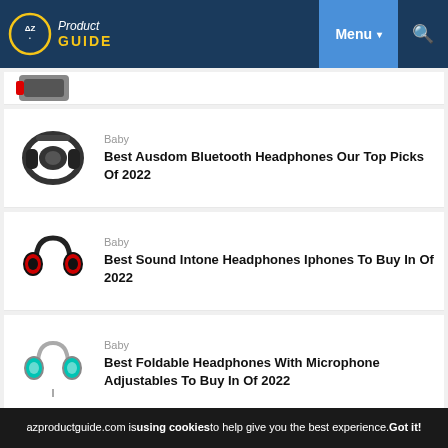AZ Product Guide — Menu — Search
[Figure (illustration): Partial headphones image clipped at top]
Baby — Best Ausdom Bluetooth Headphones Our Top Picks Of 2022
Baby — Best Sound Intone Headphones Iphones To Buy In Of 2022
Baby — Best Foldable Headphones With Microphone Adjustables To Buy In Of 2022
Recent Posts
azproductguide.com is using cookies to help give you the best experience. Got it!